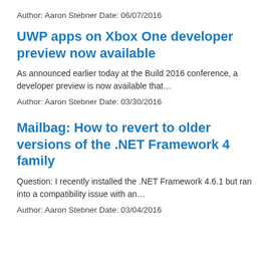Author: Aaron Stebner Date: 06/07/2016
UWP apps on Xbox One developer preview now available
As announced earlier today at the Build 2016 conference, a developer preview is now available that…
Author: Aaron Stebner Date: 03/30/2016
Mailbag: How to revert to older versions of the .NET Framework 4 family
Question: I recently installed the .NET Framework 4.6.1 but ran into a compatibility issue with an…
Author: Aaron Stebner Date: 03/04/2016